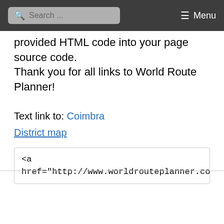Search ... Menu
provided HTML code into your page source code. Thank you for all links to World Route Planner!
Text link to: Coimbra
District map
<a href="http://www.worldrouteplanner.com/eur